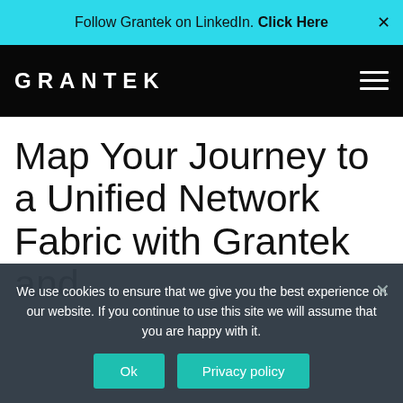Follow Grantek on LinkedIn. Click Here
[Figure (logo): GRANTEK logo and navigation bar with hamburger menu on black background]
Map Your Journey to a Unified Network Fabric with Grantek and
We use cookies to ensure that we give you the best experience on our website. If you continue to use this site we will assume that you are happy with it.
Ok  Privacy policy